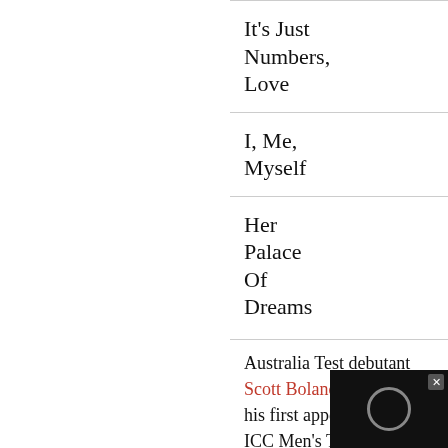It's Just Numbers, Love
I, Me, Myself
Her Palace Of Dreams
Australia Test debutant Scott Boland also made his first appearance in the ICC Men's Test Player Rankings for bowlers for outstanding pe…